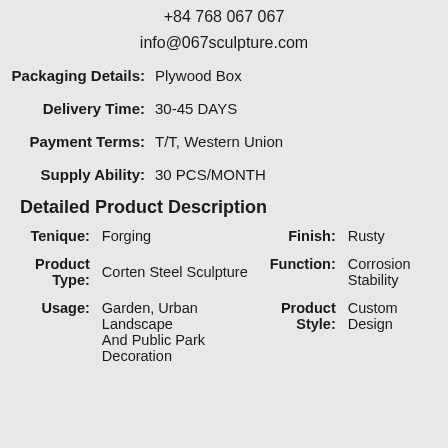+84 768 067 067
info@067sculpture.com
Packaging Details: Plywood Box
Delivery Time: 30-45 DAYS
Payment Terms: T/T, Western Union
Supply Ability: 30 PCS/MONTH
Detailed Product Description
Tenique: Forging  Finish: Rusty
Product Type: Corten Steel Sculpture  Function: Corrosion Stability
Usage: Garden, Urban Landscape And Public Park Decoration  Product Style: Custom Design